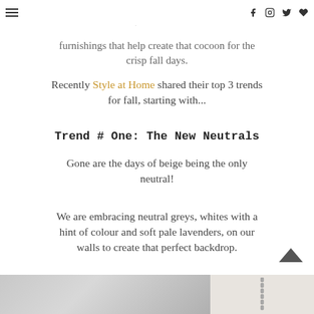gravitate towards things that make us feel cozy and warm, through colour, accessories and furnishings that help create that cocoon for the crisp fall days.
Recently Style at Home shared their top 3 trends for fall, starting with...
Trend # One: The New Neutrals
Gone are the days of beige being the only neutral!
We are embracing neutral greys, whites with a hint of colour and soft pale lavenders, on our walls to create that perfect backdrop.
[Figure (photo): Two partial images at bottom of page: left shows a grey/white interior photo, right shows a chain or jewelry item on a light background]